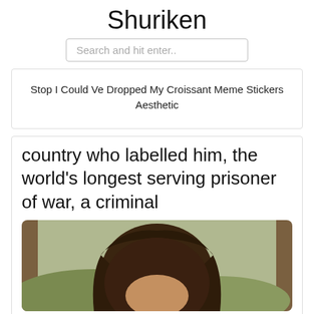Shuriken
Search and hit enter..
Stop I Could Ve Dropped My Croissant Meme Stickers Aesthetic
country who labelled him, the world's longest serving prisoner of war, a criminal
[Figure (photo): Partial view of a person with dark brown hair outdoors with blurred green/brown background]
At First I Read This As That Waffle Vine Can I Please Get A